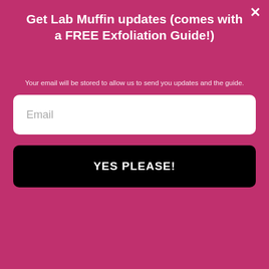Get Lab Muffin updates (comes with a FREE Exfoliation Guide!)
Your email will be stored to allow us to send you updates and the guide.
Email
YES PLEASE!
and 1% beta hydroxy acid (salicylic acid). The “T.L.C.” in the name refers to the tartaric/lactic/citric alpha hydroxy acid combination that also features in T.L.C. Sukari Babyfacial.